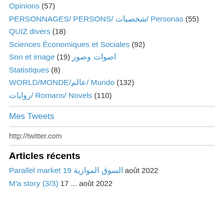Opinions (57)
PERSONNAGES/ PERSONS/ شخصيات/ Personas (55)
QUIZ divers (18)
Sciences Économiques et Sociales (92)
Son et image (19) اصوات وصور
Statistiques (8)
WORLD/MONDE/عالم/ Mundo (132)
روايات/ Romans/ Novels (110)
Mes Tweets
http://twitter.com
Articles récents
Parallel market 19 السوق الموازية août 2022
M'a story (3/3) 17 ... août 2022